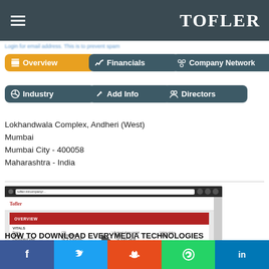TOFLER
Login for email address. This is to prevent spam
Overview
Financials
Company Network
Industry
Add Info
Directors
Lokhandwala Complex, Andheri (West)
Mumbai
Mumbai City - 400058
Maharashtra - India
[Figure (screenshot): Screenshot of a Tofler company report page showing overview with vitals and contact details sections, with a video play button overlay]
HOW TO DOWNLOAD EVERYMEDIA TECHNOLOGIES PRIVATE LIMITED REPORT
Facebook Twitter Reddit WhatsApp LinkedIn social share bar